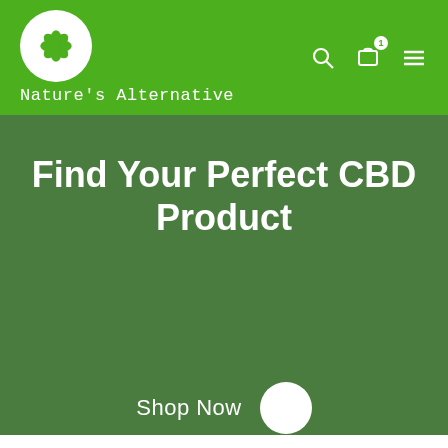Nature's Alternative
Find Your Perfect CBD Product
Shop Now
Tasty & Relaxing